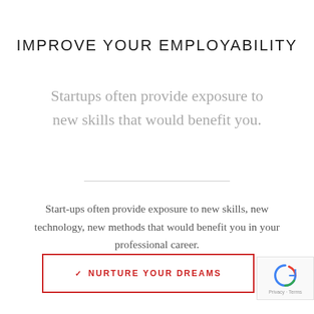IMPROVE YOUR EMPLOYABILITY
Startups often provide exposure to new skills that would benefit you.
Start-ups often provide exposure to new skills, new technology, new methods that would benefit you in your professional career.
NURTURE YOUR DREAMS